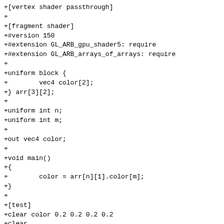+[vertex shader passthrough]
+
+[fragment shader]
+#version 150
+#extension GL_ARB_gpu_shader5: require
+#extension GL_ARB_arrays_of_arrays: require
+
+uniform block {
+        vec4 color[2];
+} arr[3][2];
+
+uniform int n;
+uniform int m;
+
+out vec4 color;
+
+void main()
+{
+        color = arr[n][1].color[m];
+}
+
+[test]
+clear color 0.2 0.2 0.2 0.2
+clear
+
+ubo array index 1
+uniform vec4 block.color[0] 1.0 0.0 0.0 0.0
+uniform vec4 block.color[1] 0.0 1.0 1.0 0.0
+ubo array index 3
+uniform vec4 block.color[0] 0.0 1.0 1.0 0.0